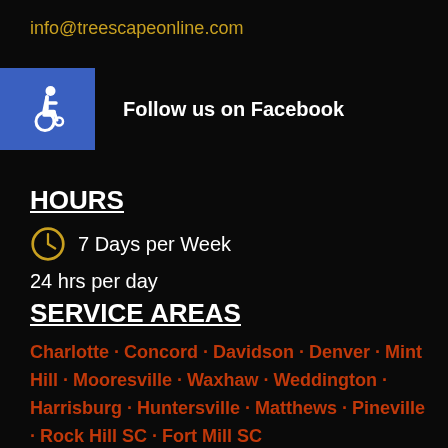info@treescapeonline.com
Follow us on Facebook
HOURS
7 Days per Week
24 hrs per day
SERVICE AREAS
Charlotte · Concord · Davidson · Denver · Mint Hill · Mooresville · Waxhaw · Weddington · Harrisburg · Huntersville · Matthews · Pineville · Rock Hill SC · Fort Mill SC